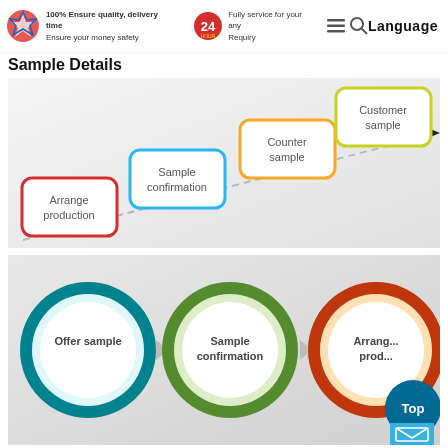100% Ensure quality, delivery time Ensure your money safety | Fully service for your any Requiry | Language
Sample Details
[Figure (flowchart): Stepped flowchart showing sample process: Arrange production → Sample confirmation → Counter sample → Customer sample, connected by dashed ascending line with arrow]
[Figure (flowchart): Three circular rings process: Offer sample → Sample confirmation → Arrange production, with chevron arrows between circles. Top and mail buttons visible bottom right.]